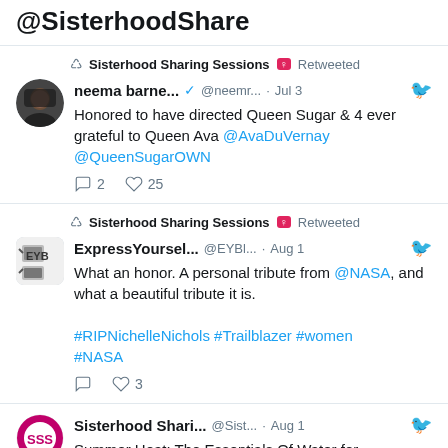@SisterhoodShare
Sisterhood Sharing Sessions ♀ Retweeted
neema barne... @neemr... · Jul 3
Honored to have directed Queen Sugar & 4 ever grateful to Queen Ava @AvaDuVernay @QueenSugarOWN
💬 2  ♡ 25
Sisterhood Sharing Sessions ♀ Retweeted
ExpressYoursel... @EYBl... · Aug 1
What an honor. A personal tribute from @NASA, and what a beautiful tribute it is.
#RIPNichelleNichols #Trailblazer #women #NASA
💬   ♡ 3
Sisterhood Shari... @Sist... · Aug 1
Summer Heat: The Essentials Of Water for